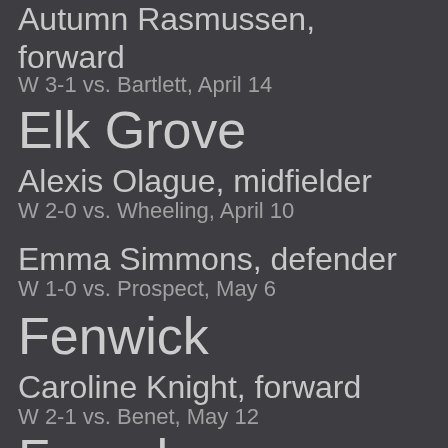Autumn Rasmussen, forward
W 3-1 vs. Bartlett, April 14
Elk Grove
Alexis Olague, midfielder
W 2-0 vs. Wheeling, April 10
Emma Simmons, defender
W 1-0 vs. Prospect, May 6
Fenwick
Caroline Knight, forward
W 2-1 vs. Benet, May 12
Fremd